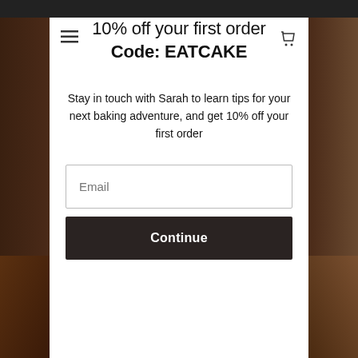10% off your first order Code: EATCAKE
Stay in touch with Sarah to learn tips for your next baking adventure, and get 10% off your first order